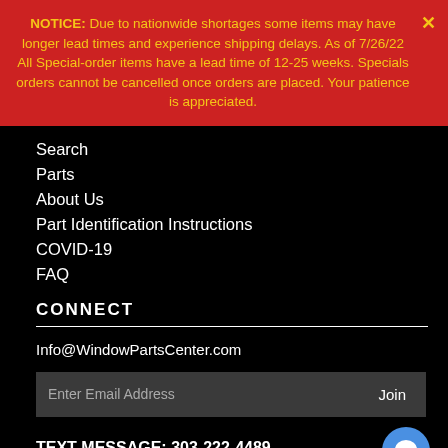NOTICE: Due to nationwide shortages some items may have longer lead times and experience shipping delays. As of 7/26/22 All Special-order items have a lead time of 12-25 weeks. Specials orders cannot be cancelled once orders are placed. Your patience is appreciated.
Search
Parts
About Us
Part Identification Instructions
COVID-19
FAQ
CONNECT
Info@WindowPartsCenter.com
Enter Email Address
Join
TEXT MESSAGE: 303-222-4489